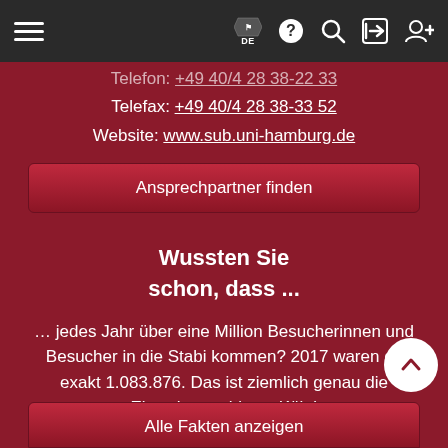[Figure (screenshot): Dark navigation bar with hamburger menu icon on the left, and icons (flag with DE label, question mark, search/magnifying glass, login arrow, add user) on the right, all in white on dark background.]
Telefon: +49 40/4 28 38-22 33
Telefax: +49 40/4 28 38-33 52
Website: www.sub.uni-hamburg.de
Ansprechpartner finden
Wussten Sie schon, dass ...
… jedes Jahr über eine Million Besucherinnen und Besucher in die Stabi kommen? 2017 waren es exakt 1.083.876. Das ist ziemlich genau die Einwohnerzahl von Köln!
Alle Fakten anzeigen